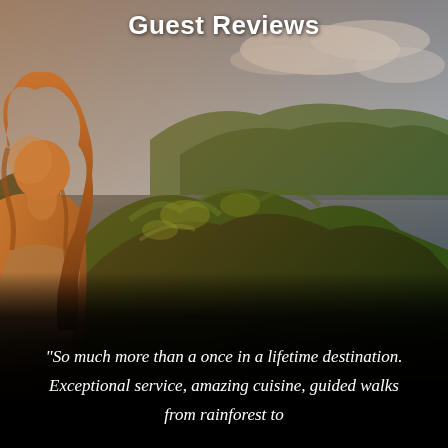Guest Reviews
[Figure (photo): A woman with long curly reddish-brown hair standing in front of lush green tropical vegetation with a lake or bay and forested hills in the background, photographed in warm golden sunset light. The lower portion of the image fades to dark/black.]
“So much more than a once in a lifetime destination. Exceptional service, amazing cuisine, guided walks from rainforest to